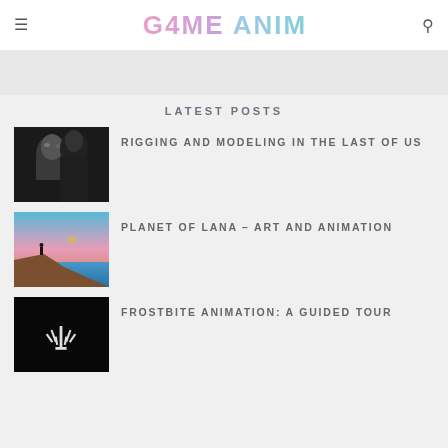GAME ANIM
[Figure (other): Gray advertisement banner placeholder]
LATEST POSTS
[Figure (photo): Black and white portrait photo of a young girl with an older figure behind her, from The Last of Us]
RIGGING AND MODELING IN THE LAST OF US
[Figure (photo): Colorful sci-fi landscape with a figure standing on a cliff, pink and blue sky, from Planet of Lana]
PLANET OF LANA – ART AND ANIMATION
[Figure (photo): Dark image with a white stylized plant/hand logo on black background, Frostbite]
FROSTBITE ANIMATION: A GUIDED TOUR